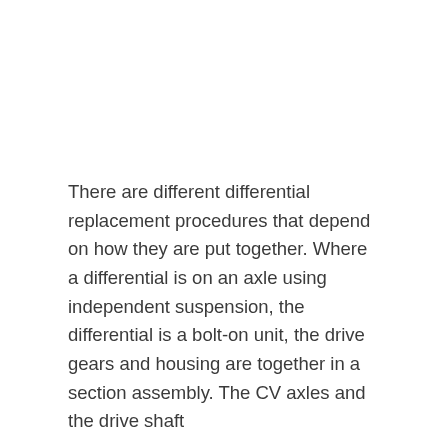There are different differential replacement procedures that depend on how they are put together. Where a differential is on an axle using independent suspension, the differential is a bolt-on unit, the drive gears and housing are together in a section assembly. The CV axles and the drive shaft...